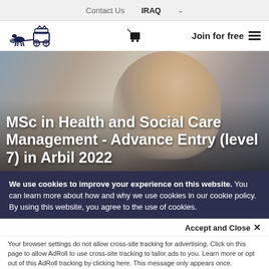Contact Us   IRAQ
[Figure (logo): Carriage and horses logo icon for educational institution]
Join for free
[Figure (photo): Woman in professional attire looking upward thoughtfully, background office/indoor setting]
MSc in Health and Social Care Management - Advance Entry (level 7) in Arbil 2022
We use cookies to improve your experience on this website. You can learn more about how and why we use cookies in our cookie policy. By using this website, you agree to the use of cookies.
Accept and Close ×
Your browser settings do not allow cross-site tracking for advertising. Click on this page to allow AdRoll to use cross-site tracking to tailor ads to you. Learn more or opt out of this AdRoll tracking by clicking here. This message only appears once.